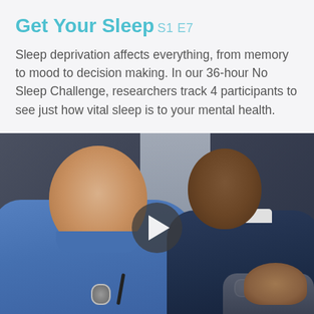Get Your Sleep S1 E7
Sleep deprivation affects everything, from memory to mood to decision making. In our 36-hour No Sleep Challenge, researchers track 4 participants to see just how vital sleep is to your mental health.
[Figure (screenshot): Video thumbnail showing two men wearing blue uniforms with badges — one heavyset white man on the left looking down, one Black man on the right — with a play button overlay in the center.]